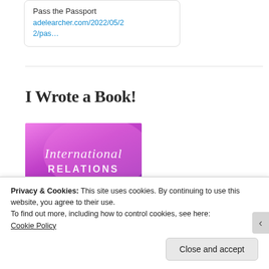Pass the Passport
adelearcher.com/2022/05/22/pas…
I Wrote a Book!
[Figure (illustration): Book cover for 'International Relations' showing a pink/magenta gradient background with the title text in script and sans-serif fonts, and two silhouetted figures (a couple) at the bottom]
Privacy & Cookies: This site uses cookies. By continuing to use this website, you agree to their use.
To find out more, including how to control cookies, see here:
Cookie Policy
Close and accept